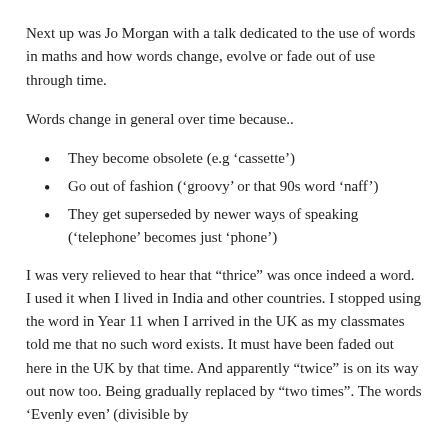Next up was Jo Morgan with a talk dedicated to the use of words in maths and how words change, evolve or fade out of use through time.
Words change in general over time because..
They become obsolete (e.g ‘cassette’)
Go out of fashion (‘groovy’ or that 90s word ‘naff’)
They get superseded by newer ways of speaking (‘telephone’ becomes just ‘phone’)
I was very relieved to hear that “thrice” was once indeed a word. I used it when I lived in India and other countries. I stopped using the word in Year 11 when I arrived in the UK as my classmates told me that no such word exists. It must have been faded out here in the UK by that time. And apparently “twice” is on its way out now too. Being gradually replaced by “two times”. The words ‘Evenly even’ (divisible by